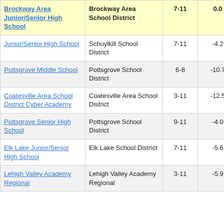| School | District | Grades | Score |  |
| --- | --- | --- | --- | --- |
| Brockway Area Junior/Senior High School | Brockway Area School District | 7-11 | 0.0 | 3 |
| Junior/Senior High School | Schuylkill School District | 7-11 | -4.2 |  |
| Pottsgrove Middle School | Pottsgrove School District | 6-8 | -10.7 |  |
| Coatesville Area School District Cyber Academy | Coatesville Area School District | 3-11 | -12.5 |  |
| Pottsgrove Senior High School | Pottsgrove School District | 9-11 | -4.0 |  |
| Elk Lake Junior/Senior High School | Elk Lake School District | 7-11 | -5.6 |  |
| Lehigh Valley Academy Regional | Lehigh Valley Academy Regional | 3-11 | -5.9 |  |